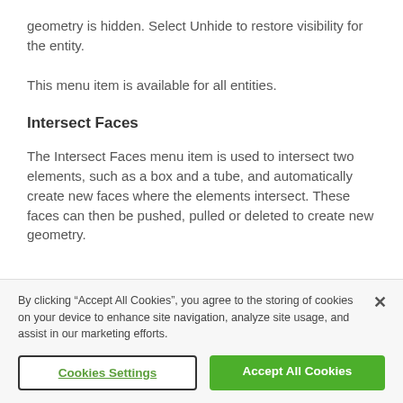geometry is hidden. Select Unhide to restore visibility for the entity.
This menu item is available for all entities.
Intersect Faces
The Intersect Faces menu item is used to intersect two elements, such as a box and a tube, and automatically create new faces where the elements intersect. These faces can then be pushed, pulled or deleted to create new geometry.
By clicking “Accept All Cookies”, you agree to the storing of cookies on your device to enhance site navigation, analyze site usage, and assist in our marketing efforts.
Cookies Settings
Accept All Cookies